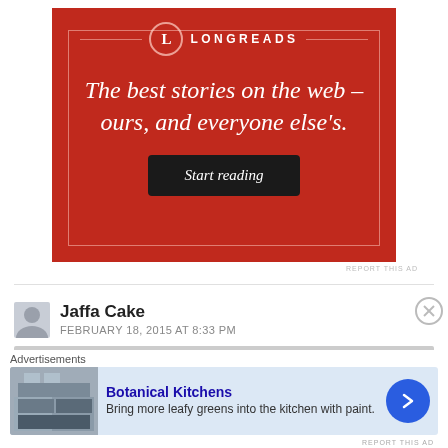[Figure (other): Longreads advertisement banner with red background. Logo shows circle with L and LONGREADS text. Tagline: The best stories on the web – ours, and everyone else's. Button: Start reading.]
REPORT THIS AD
Jaffa Cake
FEBRUARY 18, 2015 AT 8:33 PM
Advertisements
[Figure (other): Botanical Kitchens advertisement. Image of kitchen. Text: Botanical Kitchens – Bring more leafy greens into the kitchen with paint. Blue arrow button.]